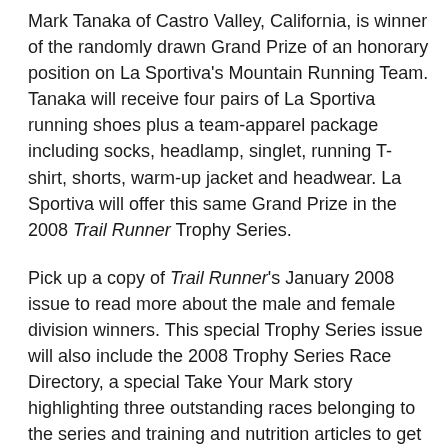Mark Tanaka of Castro Valley, California, is winner of the randomly drawn Grand Prize of an honorary position on La Sportiva's Mountain Running Team. Tanaka will receive four pairs of La Sportiva running shoes plus a team-apparel package including socks, headlamp, singlet, running T-shirt, shorts, warm-up jacket and headwear. La Sportiva will offer this same Grand Prize in the 2008 Trail Runner Trophy Series.
Pick up a copy of Trail Runner's January 2008 issue to read more about the male and female division winners. This special Trophy Series issue will also include the 2008 Trophy Series Race Directory, a special Take Your Mark story highlighting three outstanding races belonging to the series and training and nutrition articles to get you primed for race day.
Plans for the 2008 Trophy Series are already underway. Race directors interested in being a Trophy Series race should apply before November 12, 2007 here.
2007 Trophy Series Standings Highlights